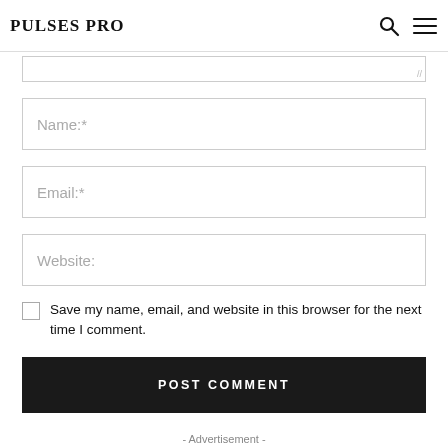PULSES PRO
[Figure (screenshot): Partial textarea at top with resize handle]
Name:*
Email:*
Website:
Save my name, email, and website in this browser for the next time I comment.
POST COMMENT
- Advertisement -
NEWSPAPER WordPress Theme